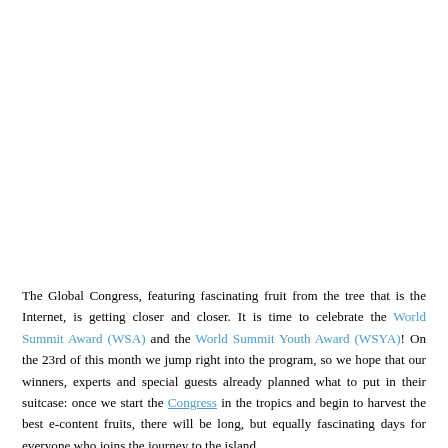The Global Congress, featuring fascinating fruit from the tree that is the Internet, is getting closer and closer. It is time to celebrate the World Summit Award (WSA) and the World Summit Youth Award (WSYA)! On the 23rd of this month we jump right into the program, so we hope that our winners, experts and special guests already planned what to put in their suitcase: once we start the Congress in the tropics and begin to harvest the best e-content fruits, there will be long, but equally fascinating days for everyone who joins the journey to the island.